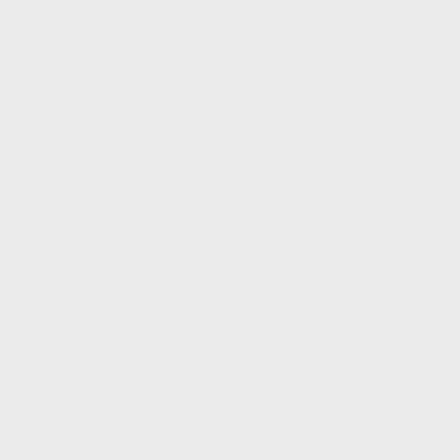Advanced Physics, UoC - Foundation for Research and Technology Hellas (FORTH)
1996, 1997 : Consecutive awards from the National Scholarships Foundation, Greece for undergraduate study -->